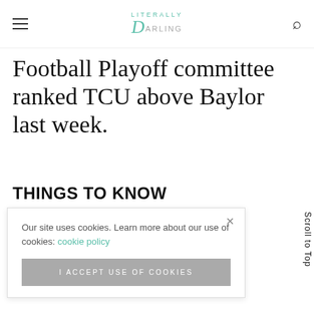Literally Darling
Football Playoff committee ranked TCU above Baylor last week.
THINGS TO KNOW
...committee's ...happy ...on in this ...that is, the
Our site uses cookies. Learn more about our use of cookies: cookie policy
I ACCEPT USE OF COOKIES
Scroll to Top